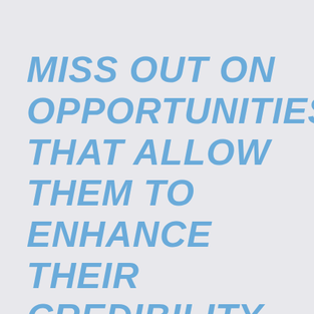MISS OUT ON OPPORTUNITIES THAT ALLOW THEM TO ENHANCE THEIR CREDIBILITY, STATURE, AWARENESS